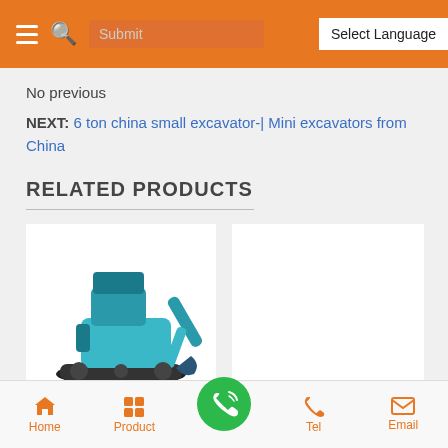Navigation header with menu, search, and Select Language button
No previous
NEXT: 6 ton china small excavator-| Mini excavators from China
RELATED PRODUCTS
[Figure (photo): Blue/teal mini excavator on white background]
[Figure (photo): Yellow mini excavator with green phone and LINE chat badge overlays]
Home | Product | [phone call button] | Tel | Email